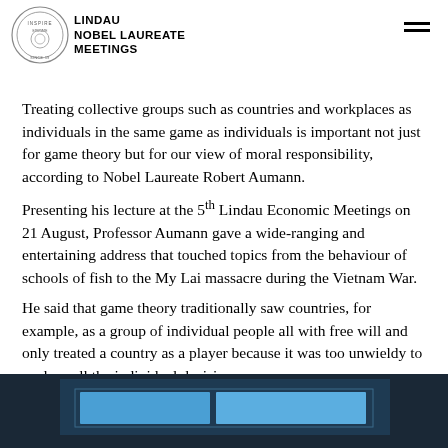events such as the My Lai massacre.
LINDAU NOBEL LAUREATE MEETINGS
Treating collective groups such as countries and workplaces as individuals in the same game as individuals is important not just for game theory but for our view of moral responsibility, according to Nobel Laureate Robert Aumann.
Presenting his lecture at the 5th Lindau Economic Meetings on 21 August, Professor Aumann gave a wide-ranging and entertaining address that touched topics from the behaviour of schools of fish to the My Lai massacre during the Vietnam War.
He said that game theory traditionally saw countries, for example, as a group of individual people all with free will and only treated a country as a player because it was too unwieldy to analyse all the individual decisions.
[Figure (photo): Bottom of image showing a presentation screen with blue background in a dark room]